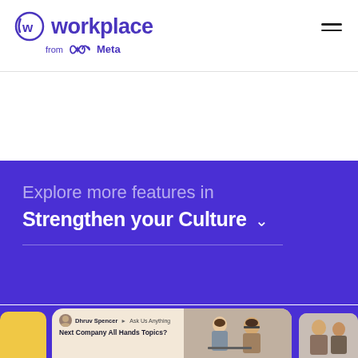[Figure (logo): Workplace from Meta logo — circular W icon in indigo/purple with the word 'workplace' in bold indigo text, and 'from Meta' with Meta infinity logo beneath]
Explore more features in
Strengthen your Culture
[Figure (screenshot): Bottom cards section showing partial UI cards: leftmost yellow card cropped, center card on beige background showing 'Dhruv Spencer > Ask Us Anything' with avatar and text 'Next Company All Hands Topics?', right half of center card shows two people at a laptop, rightmost card partially cropped]